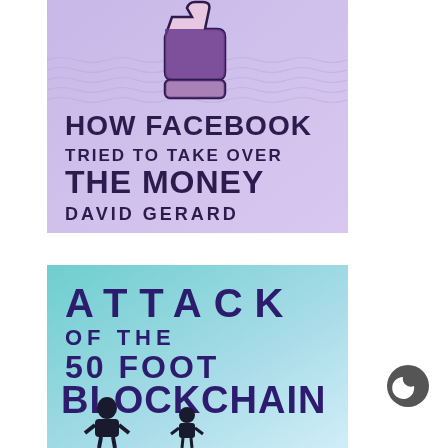[Figure (illustration): Book cover: 'How Facebook Tried to Take Over the Money' by David Gerard. Purple/lavender background with wavy lines, a thumbs-down icon (pink and dark purple). Bold dark text with title and author name.]
[Figure (illustration): Book cover: 'Attack of the 50 Foot Blockchain' by David Gerard. Teal/light blue gradient background. Large bold dark purple spaced-out letters for title, with silhouette figures at the bottom.]
[Figure (logo): Dark circular logo icon with a crescent/moon shape, likely a publisher or app logo.]